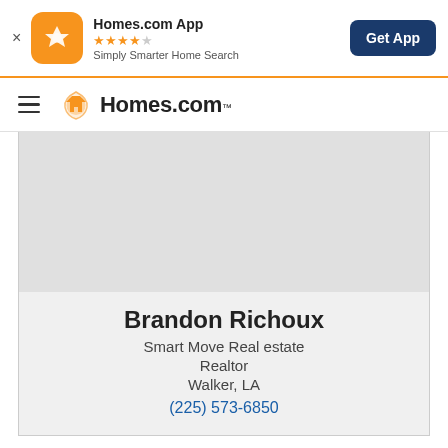[Figure (screenshot): Homes.com app banner with orange icon, star rating, tagline, and Get App button]
[Figure (logo): Homes.com navigation bar with hamburger menu and logo]
Brandon Richoux
Smart Move Real estate
Realtor
Walker, LA
(225) 573-6850